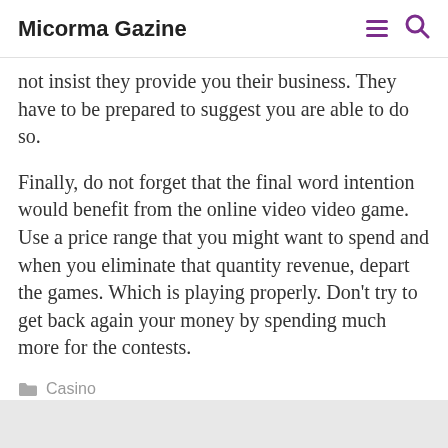Micorma Gazine
definitely spontaneous and will also use their bank playing cards over a whim. You should not insist they provide you their business. They have to be prepared to suggest you are able to do so.
Finally, do not forget that the final word intention would benefit from the online video video game. Use a price range that you might want to spend and when you eliminate that quantity revenue, depart the games. Which is playing properly. Don’t try to get back again your money by spending much more for the contests.
Casino